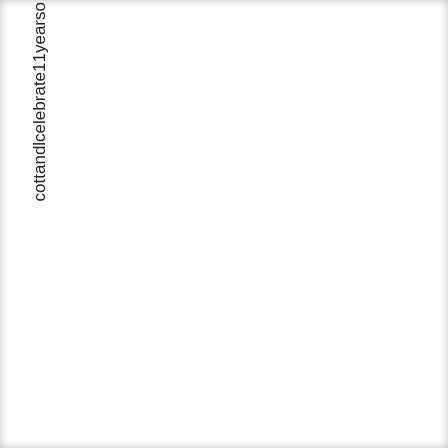cottand | celebrate 11 years o